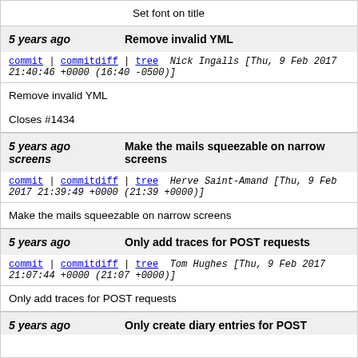Set font on title
5 years ago   Remove invalid YML
commit | commitdiff | tree   Nick Ingalls [Thu, 9 Feb 2017 21:40:46 +0000 (16:40 -0500)]
Remove invalid YML

Closes #1434
5 years ago   Make the mails squeezable on narrow screens
commit | commitdiff | tree   Herve Saint-Amand [Thu, 9 Feb 2017 21:39:49 +0000 (21:39 +0000)]
Make the mails squeezable on narrow screens
5 years ago   Only add traces for POST requests
commit | commitdiff | tree   Tom Hughes [Thu, 9 Feb 2017 21:07:44 +0000 (21:07 +0000)]
Only add traces for POST requests
5 years ago   Only create diary entries for POST